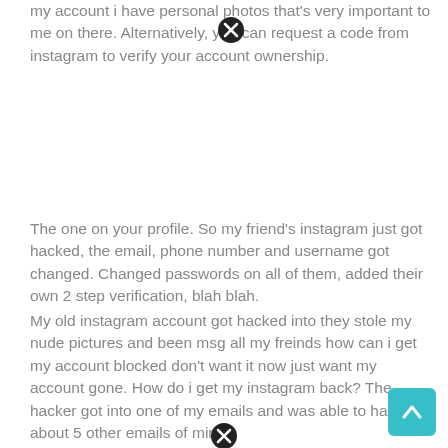my account i have personal photos that's very important to me on there. Alternatively, you can request a code from instagram to verify your account ownership.
The one on your profile. So my friend's instagram just got hacked, the email, phone number and username got changed. Changed passwords on all of them, added their own 2 step verification, blah blah.
My old instagram account got hacked into they stole my nude pictures and been msg all my freinds how can i get my account blocked don't want it now just want my account gone. How do i get my instagram back? The hacker got into one of my emails and was able to hack about 5 other emails of mine.